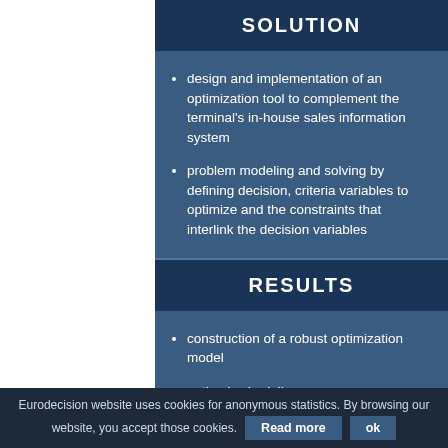SOLUTION
design and implementation of an optimization tool to complement the terminal's in-house sales information system
problem modeling and solving by defining decision, criteria variables to optimize and the constraints that interlink the decision variables
RESULTS
construction of a robust optimization model
optimal scheduling
modeling and measuring service changes
Eurodecision website uses cookies for anonymous statistics. By browsing our website, you accept those cookies. Read more ok